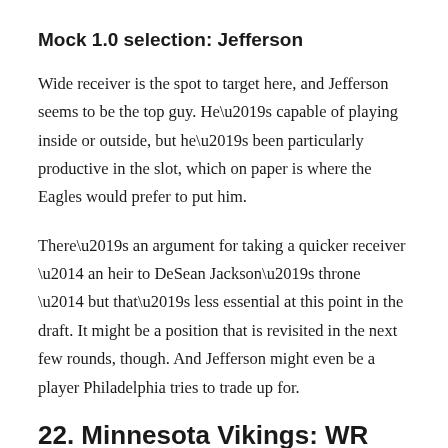Mock 1.0 selection: Jefferson
Wide receiver is the spot to target here, and Jefferson seems to be the top guy. He’s capable of playing inside or outside, but he’s been particularly productive in the slot, which on paper is where the Eagles would prefer to put him.
There’s an argument for taking a quicker receiver — an heir to DeSean Jackson’s throne — but that’s less essential at this point in the draft. It might be a position that is revisited in the next few rounds, though. And Jefferson might even be a player Philadelphia tries to trade up for.
22. Minnesota Vikings: WR Jalen Reagor (TCU)